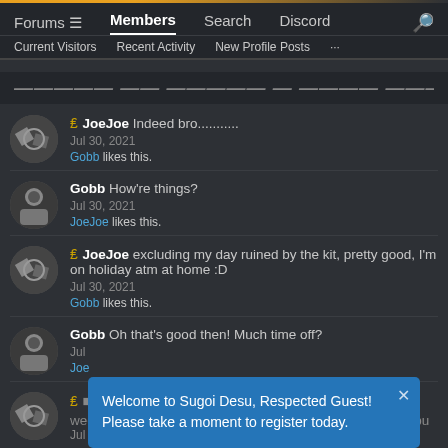Forums  Members  Search  Discord  |  Current Visitors  Recent Activity  New Profile Posts  ...
Comments on Profile of Gobb
JoeJoe Indeed bro........... Jul 30, 2021 Gobb likes this.
Gobb How're things? Jul 30, 2021 JoeJoe likes this.
JoeJoe excluding my day ruined by the kit, pretty good, I'm on holiday atm at home :D  Jul 30, 2021 Gobb likes this.
Gobb Oh that's good then! Much time off? Jul 30, 2021 JoeJoe likes this.
JoeJoe [message partially hidden] more week, I wanted to travel but had no one to bring with 🌙 hbu Jul 30, 2021
Welcome to Sugoi Desu, Respected Guest! Please take a moment to register today.